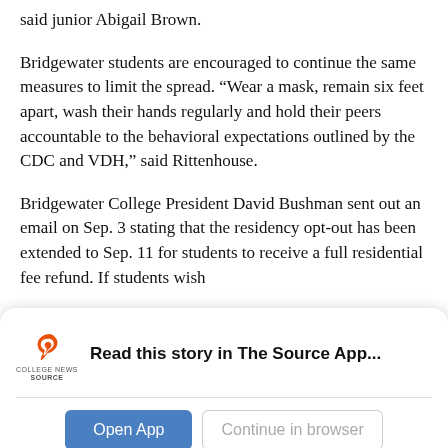said junior Abigail Brown.
Bridgewater students are encouraged to continue the same measures to limit the spread. “Wear a mask, remain six feet apart, wash their hands regularly and hold their peers accountable to the behavioral expectations outlined by the CDC and VDH,” said Rittenhouse.
Bridgewater College President David Bushman sent out an email on Sep. 3 stating that the residency opt-out has been extended to Sep. 11 for students to receive a full residential fee refund. If students wish
[Figure (screenshot): App banner for College News Source with logo, text 'Read this story in The Source App...', and two buttons: 'Open App' and 'Continue in browser']